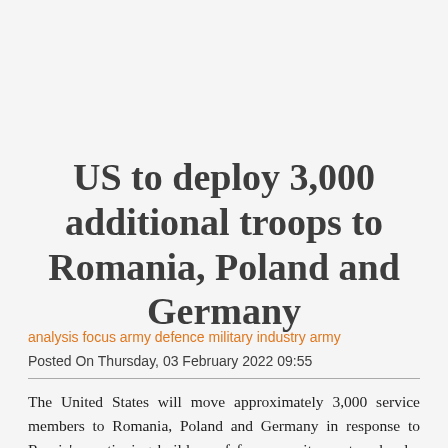US to deploy 3,000 additional troops to Romania, Poland and Germany
analysis focus army defence military industry army
Posted On Thursday, 03 February 2022 09:55
The United States will move approximately 3,000 service members to Romania, Poland and Germany in response to Russia's continuing build-up of forces on its western border with Ukraine and in Belarus, Pentagon Press Secretary John F. Kirby said on February 2 during a